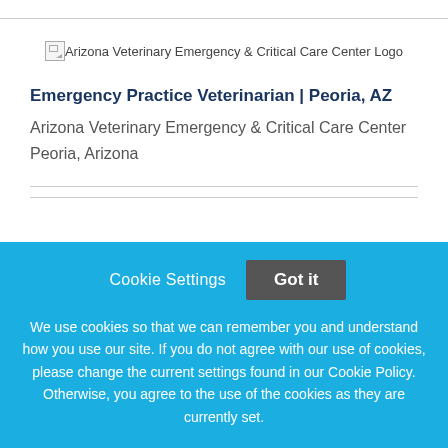[Figure (logo): Arizona Veterinary Emergency & Critical Care Center Logo (broken image placeholder)]
Emergency Practice Veterinarian | Peoria, AZ
Arizona Veterinary Emergency & Critical Care Center
Peoria, Arizona
Cookie Settings
Got it
We use cookies so that we can remember you and understand how you use our site. If you do not agree with our use of cookies, please change the current settings found in our Cookie Policy. Otherwise, you agree to the use of the cookies as they are currently set.